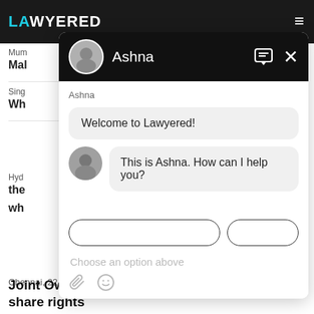[Figure (screenshot): Lawyered website with a chat widget overlay. Chat is with 'Ashna'. Messages: 'Welcome to Lawyered!' and 'This is Ashna. How can I help you?'. Input area shows 'Choose an option above'.]
Mum
Mal
Sing
Wh
Hyd
the wh
Chennai,  22 Apr, 2021,  (1 year, 4 months ago)
Joint Ownership undivided land sale deed, share rights